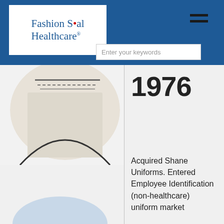Fashion Seal Healthcare
1976
Acquired Shane Uniforms. Entered Employee Identification (non-healthcare) uniform market
[Figure (photo): Partial view of a fabric garment/uniform product against a white background, showing stitching/seam detail at top, and a partial shape at bottom]
[Figure (screenshot): Search bar with placeholder text 'Enter your keywords']